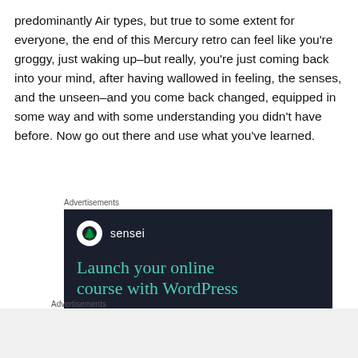predominantly Air types, but true to some extent for everyone, the end of this Mercury retro can feel like you're groggy, just waking up–but really, you're just coming back into your mind, after having wallowed in feeling, the senses, and the unseen–and you come back changed, equipped in some way and with some understanding you didn't have before. Now go out there and use what you've learned.
Advertisements
[Figure (other): Advertisement for Sensei plugin: dark background with Sensei logo (tree icon in white circle) and teal text reading 'Launch your online course with WordPress']
Advertisements